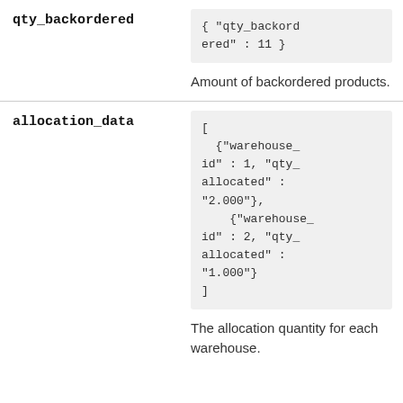qty_backordered
{ "qty_backordered" : 11 }
Amount of backordered products.
allocation_data
[
  {"warehouse_id" : 1, "qty_allocated" : "2.000"},
    {"warehouse_id" : 2, "qty_allocated" : "1.000"}
]
The allocation quantity for each warehouse.